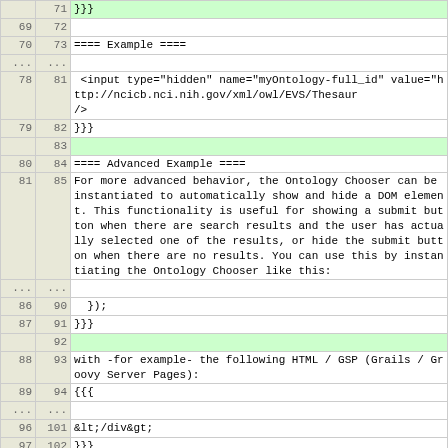| old ln | new ln | code |
| --- | --- | --- |
|  | 71 | }}} |
| 69 | 72 |  |
| 70 | 73 | ==== Example ==== |
| ... | ... |  |
| 78 | 81 | <input type="hidden" name="myOntology-full_id" value="http://ncicb.nci.nih.gov/xml/owl/EVS/Thesaur
/> |
| 79 | 82 | }}} |
|  | 83 |  |
| 80 | 84 | ==== Advanced Example ==== |
| 81 | 85 | For more advanced behavior, the Ontology Chooser can be instantiated to automatically show and hide a DOM element. This functionality is useful for showing a submit button when there are search results and the user has actually selected one of the results, or hide the submit button when there are no results. You can use this by instantiating the Ontology Chooser like this: |
| ... | ... |  |
| 86 | 90 |   }); |
| 87 | 91 | }}} |
|  | 92 |  |
| 88 | 93 | with -for example- the following HTML / GSP (Grails / Groovy Server Pages): |
| 89 | 94 | {{{ |
| ... | ... |  |
| 96 | 101 | &lt;/div&gt; |
| 97 | 102 | }}} |
|  | 103 |  |
| 98 | 104 | === Select Add More === |
| 99 | 105 | Select Add More is a Javascript class which is able to dynamically insert an entry to a select element which -upon selecting- causes a jQuery-ui |